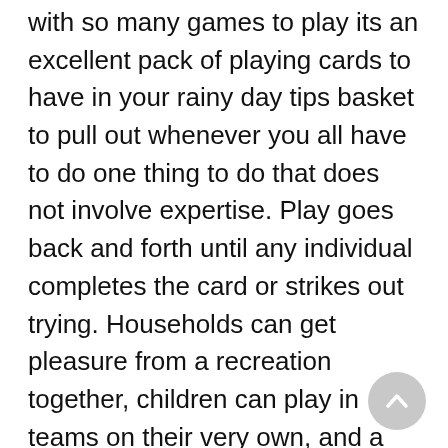with so many games to play its an excellent pack of playing cards to have in your rainy day tips basket to pull out whenever you all have to do one thing to do that does not involve expertise. Play goes back and forth until any individual completes the card or strikes out trying. Households can get pleasure from a recreation together, children can play in teams on their very own, and a solitary little one can while away the hours playing solitaire games or constructing card houses. The participant with the most matches wins. By taking part in low-stakes blackjack utilizing the mathematically correct method of playing the sport, (known because the “excellent technique” in Blackjack that tells the